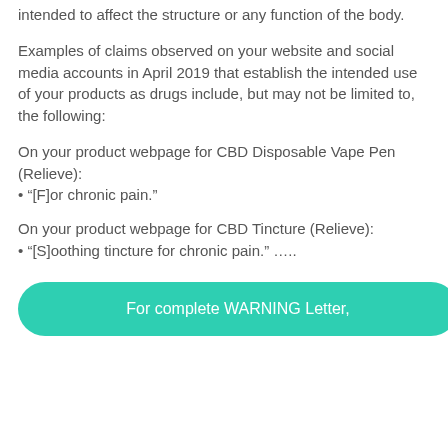intended to affect the structure or any function of the body.
Examples of claims observed on your website and social media accounts in April 2019 that establish the intended use of your products as drugs include, but may not be limited to, the following:
On your product webpage for CBD Disposable Vape Pen (Relieve):
• “[F]or chronic pain.”
On your product webpage for CBD Tincture (Relieve):
• “[S]oothing tincture for chronic pain.” …..
For complete WARNING Letter,